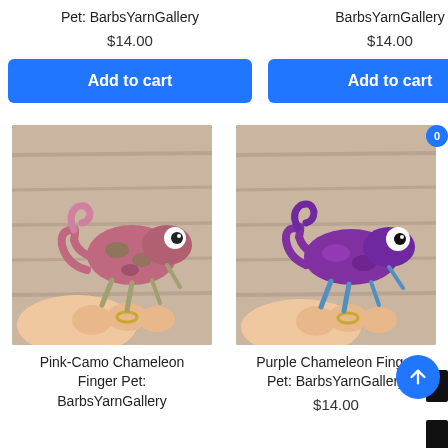Pet: BarbsYarnGallery
BarbsYarnGallery
$14.00
$14.00
Add to cart
Add to cart
[Figure (photo): Pink-Camo crocheted chameleon finger pet held by a hand, on a wood background]
[Figure (photo): Purple crocheted chameleon finger pet held by a hand, on a wood background]
Pink-Camo Chameleon Finger Pet: BarbsYarnGallery
Purple Chameleon Finger Pet: BarbsYarnGallery
$14.00